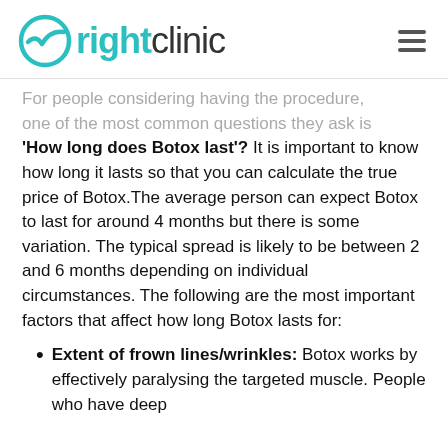rightclinic
For people considering having the procedure, one of the most common questions they ask is 'How long does Botox last'? It is important to know how long it lasts so that you can calculate the true price of Botox.The average person can expect Botox to last for around 4 months but there is some variation. The typical spread is likely to be between 2 and 6 months depending on individual circumstances. The following are the most important factors that affect how long Botox lasts for:
Extent of frown lines/wrinkles: Botox works by effectively paralysing the targeted muscle. People who have deep